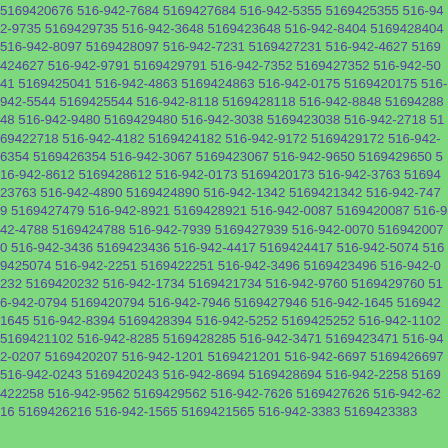5169420676 516-942-7684 5169427684 516-942-5355 5169425355 516-942-9735 5169429735 516-942-3648 5169423648 516-942-8404 5169428404 516-942-8097 5169428097 516-942-7231 5169427231 516-942-4627 5169424627 516-942-9791 5169429791 516-942-7352 5169427352 516-942-5041 5169425041 516-942-4863 5169424863 516-942-0175 5169420175 516-942-5544 5169425544 516-942-8118 5169428118 516-942-8848 5169428848 516-942-9480 5169429480 516-942-3038 5169423038 516-942-2718 5169422718 516-942-4182 5169424182 516-942-9172 5169429172 516-942-6354 5169426354 516-942-3067 5169423067 516-942-9650 5169429650 516-942-8612 5169428612 516-942-0173 5169420173 516-942-3763 5169423763 516-942-4890 5169424890 516-942-1342 5169421342 516-942-7479 5169427479 516-942-8921 5169428921 516-942-0087 5169420087 516-942-4788 5169424788 516-942-7939 5169427939 516-942-0070 5169420070 516-942-3436 5169423436 516-942-4417 5169424417 516-942-5074 5169425074 516-942-2251 5169422251 516-942-3496 5169423496 516-942-0232 5169420232 516-942-1734 5169421734 516-942-9760 5169429760 516-942-0794 5169420794 516-942-7946 5169427946 516-942-1645 5169421645 516-942-8394 5169428394 516-942-5252 5169425252 516-942-1102 5169421102 516-942-8285 5169428285 516-942-3471 5169423471 516-942-0207 5169420207 516-942-1201 5169421201 516-942-6697 5169426697 516-942-0243 5169420243 516-942-8694 5169428694 516-942-2258 5169422258 516-942-9562 5169429562 516-942-7626 5169427626 516-942-6216 5169426216 516-942-1565 5169421565 516-942-3383 5169423383